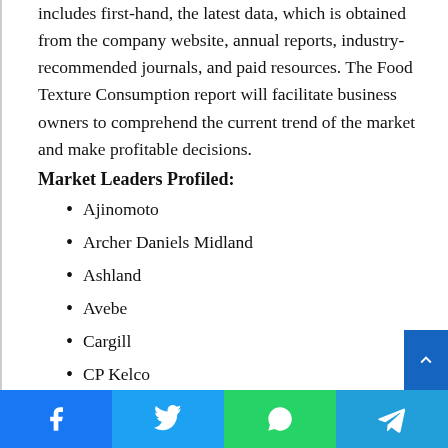includes first-hand, the latest data, which is obtained from the company website, annual reports, industry-recommended journals, and paid resources. The Food Texture Consumption report will facilitate business owners to comprehend the current trend of the market and make profitable decisions.
Market Leaders Profiled:
Ajinomoto
Archer Daniels Midland
Ashland
Avebe
Cargill
CP Kelco
Dupont
Facebook | Twitter | WhatsApp | Telegram